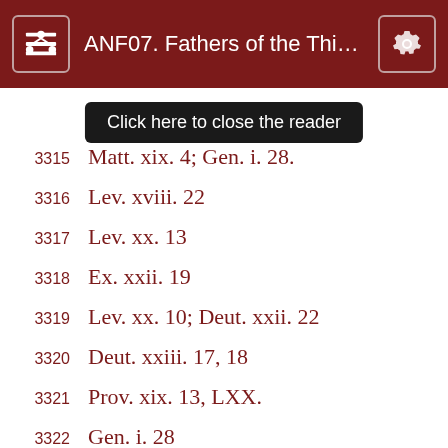ANF07. Fathers of the Third a...
Click here to close the reader
3315  Matt. xix. 4; Gen. i. 28.
3316  Lev. xviii. 22
3317  Lev. xx. 13
3318  Ex. xxii. 19
3319  Lev. xx. 10; Deut. xxii. 22
3320  Deut. xxiii. 17, 18
3321  Prov. xix. 13, LXX.
3322  Gen. i. 28
3323  Prov. xix. 14
3324  Ps. cxxviii. 3, 4
3325  Hob. xiii. 4